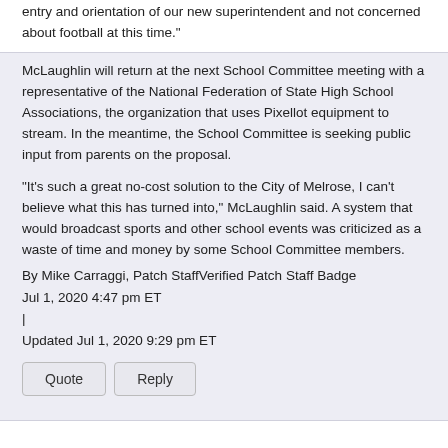entry and orientation of our new superintendent and not concerned about football at this time."
McLaughlin will return at the next School Committee meeting with a representative of the National Federation of State High School Associations, the organization that uses Pixellot equipment to stream. In the meantime, the School Committee is seeking public input from parents on the proposal.
"It's such a great no-cost solution to the City of Melrose, I can't believe what this has turned into," McLaughlin said. A system that would broadcast sports and other school events was criticized as a waste of time and money by some School Committee members.
By Mike Carraggi, Patch StaffVerified Patch Staff Badge
Jul 1, 2020 4:47 pm ET
|
Updated Jul 1, 2020 9:29 pm ET
Ted Kenney